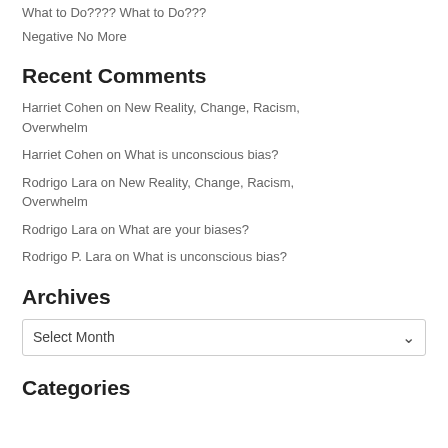What to Do???? What to Do???
Negative No More
Recent Comments
Harriet Cohen on New Reality, Change, Racism, Overwhelm
Harriet Cohen on What is unconscious bias?
Rodrigo Lara on New Reality, Change, Racism, Overwhelm
Rodrigo Lara on What are your biases?
Rodrigo P. Lara on What is unconscious bias?
Archives
Select Month
Categories